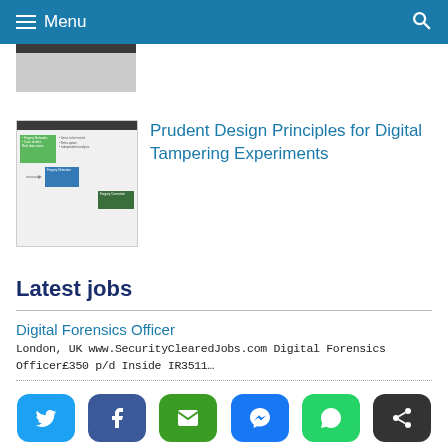Menu
[Figure (screenshot): Thumbnail image at top of page - partial view of article image]
[Figure (illustration): Thumbnail showing a digital forensics/network diagram with green and blue boxes]
Prudent Design Principles for Digital Tampering Experiments
Latest jobs
Digital Forensics Officer
London, UK www.SecurityClearedJobs.com Digital Forensics Officer£350 p/d Inside IR3511…
Digital Forensics Consultant
London, UK www.SecurityClearedJobs.com Digital Forensics Consultant Inside
[Figure (other): Social sharing buttons: Twitter, Facebook, Email, Messenger, WhatsApp, Share]